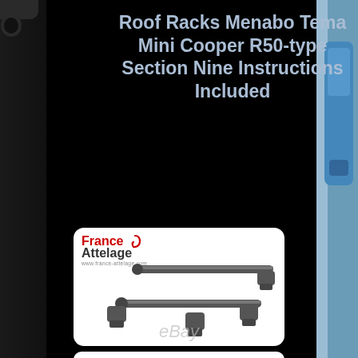Roof Racks Menabo Tema Mini Cooper R50-type Section Nine Instructions Included
[Figure (photo): Product photo of Menabo Tema roof rack bars for Mini Cooper R50, shown as a pair of black steel bars with mounting feet, on white background with France Attelage branding logo (red 'France' with hook symbol and dark 'Attelage' text, www.france-attelage.com URL) and eBay watermark]